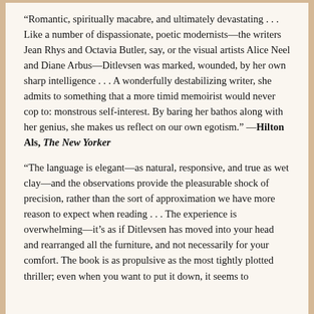“Romantic, spiritually macabre, and ultimately devastating . . . Like a number of dispassionate, poetic modernists—the writers Jean Rhys and Octavia Butler, say, or the visual artists Alice Neel and Diane Arbus—Ditlevsen was marked, wounded, by her own sharp intelligence . . . A wonderfully destabilizing writer, she admits to something that a more timid memoirist would never cop to: monstrous self-interest. By baring her bathos along with her genius, she makes us reflect on our own egotism.” —Hilton Als, The New Yorker
“The language is elegant—as natural, responsive, and true as wet clay—and the observations provide the pleasurable shock of precision, rather than the sort of approximation we have more reason to expect when reading . . . The experience is overwhelming—it’s as if Ditlevsen has moved into your head and rearranged all the furniture, and not necessarily for your comfort. The book is as propulsive as the most tightly plotted thriller; even when you want to put it down, it seems to